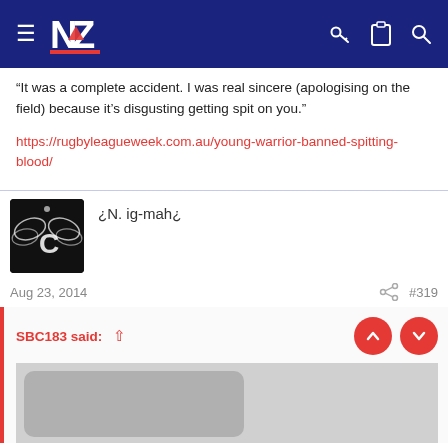NZ Warriors forum navigation bar
“It was a complete accident. I was real sincere (apologising on the field) because it’s disgusting getting spit on you.”
https://rugbyleagueweek.com.au/young-warrior-banned-spitting-blood/
[Figure (photo): User avatar: dark background with wing-like shapes and a letter C, black and white]
¿N. ig-mah¿
Aug 23, 2014
#319
SBC183 said:
[Figure (photo): Partially visible image in quoted block, gray rounded rectangle shape on gray background]